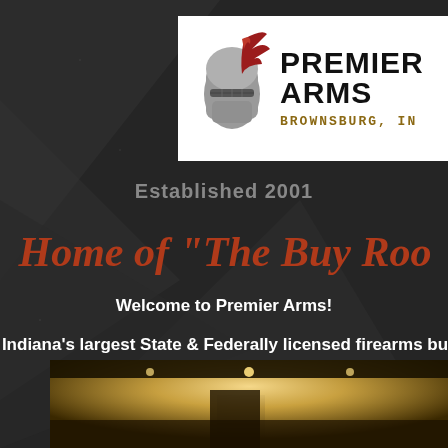[Figure (logo): Premier Arms logo with a grey and dark red knight helmet illustration, bold black text reading PREMIER ARMS, and stylized text BROWNSBURG, IN below on a white background]
Established 2001
Home of "The Buy Roo..."
Welcome to Premier Arms!
Indiana's largest State & Federally licensed firearms bu... with over 1000 firearms in stock.
[Figure (photo): Interior photo of Premier Arms store showing a warmly lit showroom with display cases]